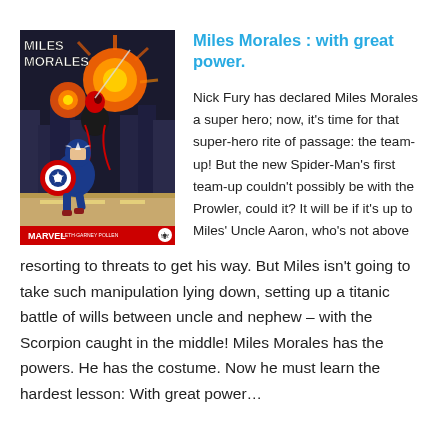[Figure (illustration): Comic book cover for Miles Morales: With Great Power, showing Spider-Man and Captain America in action with explosions in a city setting. Marvel branding at bottom with creator credits.]
Miles Morales : with great power.
Nick Fury has declared Miles Morales a super hero; now, it’s time for that super-hero rite of passage: the team-up! But the new Spider-Man’s first team-up couldn’t possibly be with the Prowler, could it? It will be if it’s up to Miles’ Uncle Aaron, who’s not above resorting to threats to get his way. But Miles isn’t going to take such manipulation lying down, setting up a titanic battle of wills between uncle and nephew – with the Scorpion caught in the middle! Miles Morales has the powers. He has the costume. Now he must learn the hardest lesson: With great power…